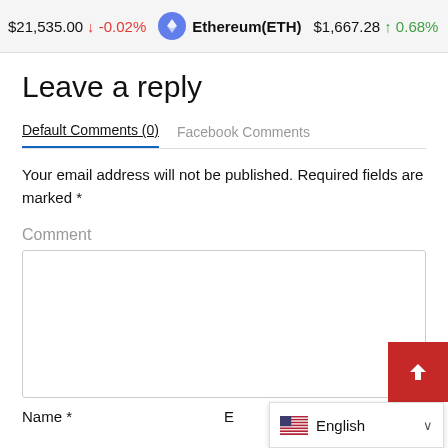$21,535.00 ↓ -0.02% Ethereum(ETH) $1,667.28 ↑ 0.68% T
Leave a reply
Default Comments (0)   Facebook Comments
Your email address will not be published. Required fields are marked *
Comment
Name *
English